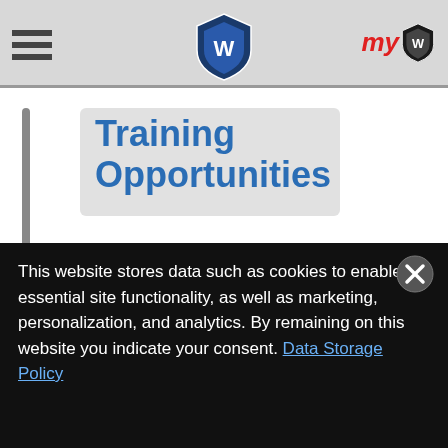Trackwrestling navigation header with hamburger menu, shield logo, and myTW logo
Training Opportunities
Trackwrestling Training Opportunities is a great way to search for and post upcoming camps and training opportunities for your school or club. Finding the right camp is easy with our camp search feature, which allows you to narrow your results by date, age level, state, and more.
This website stores data such as cookies to enable essential site functionality, as well as marketing, personalization, and analytics. By remaining on this website you indicate your consent. Data Storage Policy